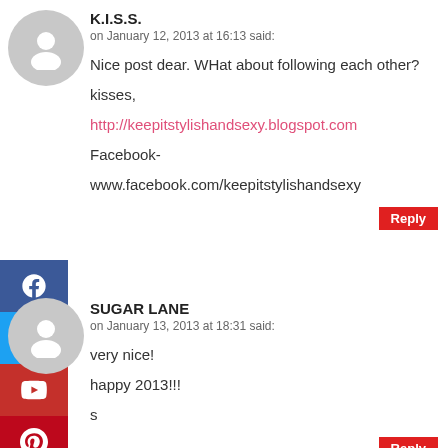[Figure (illustration): Gray avatar/profile circle icon for user K.I.S.S.]
K.I.S.S.
on January 12, 2013 at 16:13 said:
Nice post dear. WHat about following each other?
kisses,
http://keepitstylishandsexy.blogspot.com
Facebook-
www.facebook.com/keepitstylishandsexy
Reply
[Figure (illustration): Social media sidebar icons: Facebook, Twitter, YouTube, Pinterest, Google+, Instagram]
[Figure (illustration): Gray avatar/profile circle icon for user SUGAR LANE]
SUGAR LANE
on January 13, 2013 at 18:31 said:
very nice!
happy 2013!!!
s
Reply